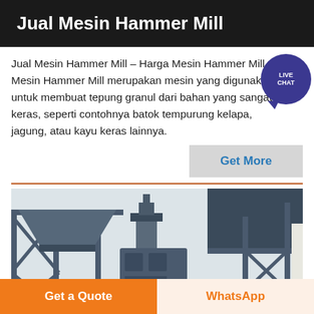Jual Mesin Hammer Mill
Jual Mesin Hammer Mill – Harga Mesin Hammer Mill Mesin Hammer Mill merupakan mesin yang digunakan untuk membuat tepung granul dari bahan yang sangat keras, seperti contohnya batok tempurung kelapa, jagung, atau kayu keras lainnya.
[Figure (illustration): Live Chat bubble icon in dark purple/blue with text LIVE CHAT and chat bubble tail]
[Figure (other): Gray button labeled Get More in blue text]
[Figure (photo): Industrial hammer mill machinery with blue steel frame structures, silos and conveyor systems photographed outdoors]
Get a Quote
WhatsApp